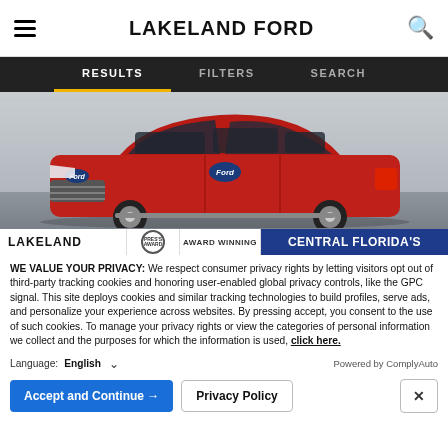LAKELAND FORD
RESULTS  FILTERS  SEARCH
[Figure (photo): Red Ford Explorer SUV parked in front of a dealership building, with a banner at the bottom reading LAKELAND AWARD WINNING CENTRAL FLORIDA'S]
WE VALUE YOUR PRIVACY: We respect consumer privacy rights by letting visitors opt out of third-party tracking cookies and honoring user-enabled global privacy controls, like the GPC signal. This site deploys cookies and similar tracking technologies to build profiles, serve ads, and personalize your experience across websites. By pressing accept, you consent to the use of such cookies. To manage your privacy rights or view the categories of personal information we collect and the purposes for which the information is used, click here.
Language:  English  ∨   Powered by ComplyAuto
Accept and Continue →    Privacy Policy    ✕